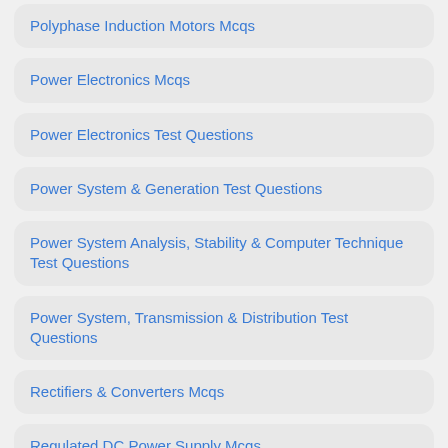Polyphase Induction Motors Mcqs
Power Electronics Mcqs
Power Electronics Test Questions
Power System & Generation Test Questions
Power System Analysis, Stability & Computer Technique Test Questions
Power System, Transmission & Distribution Test Questions
Rectifiers & Converters Mcqs
Regulated DC Power Supply Mcqs
SCR Silicon Controlled Rectifiers Mcqs
Semiconductor Diode Mcqs